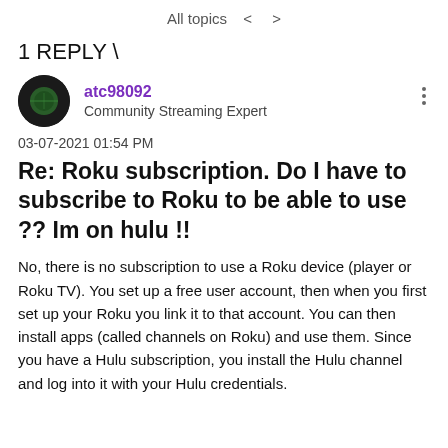All topics < >
1 REPLY \
atc98092
Community Streaming Expert
03-07-2021 01:54 PM
Re: Roku subscription. Do I have to subscribe to Roku to be able to use ?? Im on hulu !!
No, there is no subscription to use a Roku device (player or Roku TV). You set up a free user account, then when you first set up your Roku you link it to that account. You can then install apps (called channels on Roku) and use them. Since you have a Hulu subscription, you install the Hulu channel and log into it with your Hulu credentials.